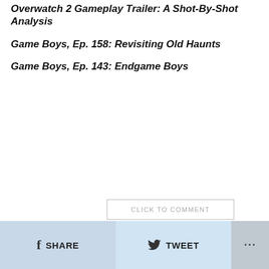Overwatch 2 Gameplay Trailer: A Shot-By-Shot Analysis
Game Boys, Ep. 158: Revisiting Old Haunts
Game Boys, Ep. 143: Endgame Boys
CLICK TO COMMENT
SHARE  TWEET  ...